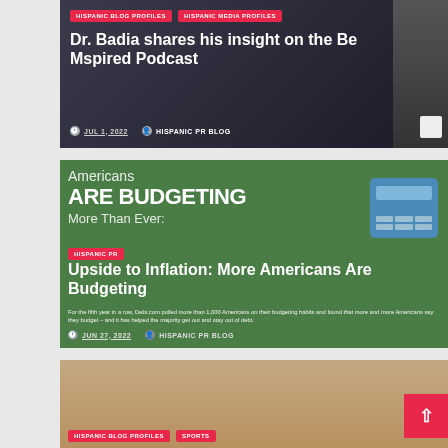[Figure (screenshot): Blog article card with dark background showing a podcast recording setup. Tags: HISPANIC BLOG PROFILES, HISPANIC MEDIA PROFILES. Title: Dr. Badia shares his insight on the Be Mspired Podcast. Date: JUL 1, 2022. Author: HISPANIC PR BLOG.]
[Figure (screenshot): Blog article card with green background showing Americans Are Budgeting graphic with calculator. Tag: HISPANIC PR. Title: Upside to Inflation: More Americans Are Budgeting. Date: JUN 27, 2022. Author: HISPANIC PR BLOG. Description text about Debt.com polling 1,000 Americans.]
[Figure (screenshot): Blog article card showing a swimmer/sports image at bottom. Tags: HISPANIC BLOG PROFILES, SPORTS. Red back-to-top button in bottom right corner.]